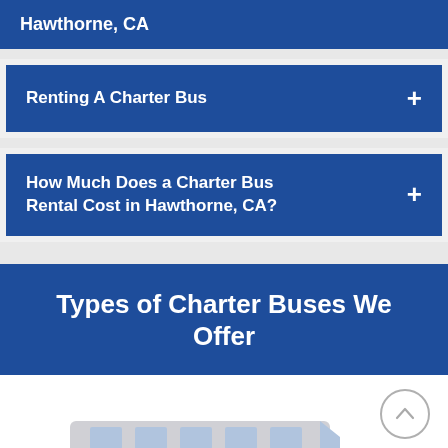Hawthorne, CA
Renting A Charter Bus
How Much Does a Charter Bus Rental Cost in Hawthorne, CA?
Types of Charter Buses We Offer
[Figure (photo): Partial view of a charter bus, showing the front section, visible at the bottom of the page on a white background. A circular scroll-up arrow button is overlaid in the bottom-right area.]